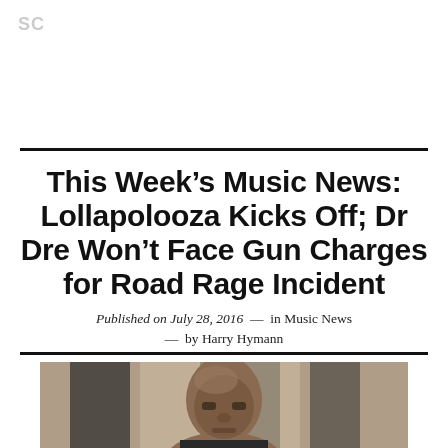SC
This Week's Music News: Lollapolooza Kicks Off; Dr Dre Won't Face Gun Charges for Road Rage Incident
Published on July 28, 2016  —  in Music News — by Harry Hymann
[Figure (photo): Photo of a bald man at an event with dark backdrop]